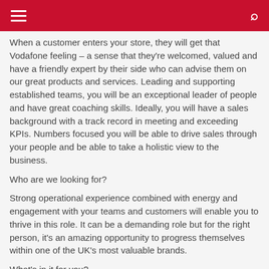When a customer enters your store, they will get that Vodafone feeling – a sense that they're welcomed, valued and have a friendly expert by their side who can advise them on our great products and services. Leading and supporting established teams, you will be an exceptional leader of people and have great coaching skills. Ideally, you will have a sales background with a track record in meeting and exceeding KPIs. Numbers focused you will be able to drive sales through your people and be able to take a holistic view to the business.
Who are we looking for?
Strong operational experience combined with energy and engagement with your teams and customers will enable you to thrive in this role. It can be a demanding role but for the right person, it's an amazing opportunity to progress themselves within one of the UK's most valuable brands.
What's in it for you?